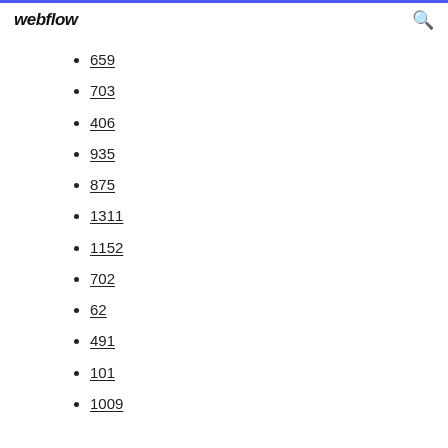webflow
659
703
406
935
875
1311
1152
702
62
491
101
1009